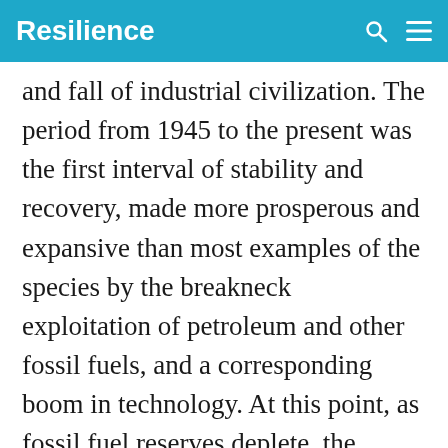Resilience
and fall of industrial civilization. The period from 1945 to the present was the first interval of stability and recovery, made more prosperous and expansive than most examples of the species by the breakneck exploitation of petroleum and other fossil fuels, and a corresponding boom in technology. At this point, as fossil fuel reserves deplete, the planet’s capacity to absorb carbon dioxide and other pollutants runs up against hard limits, and a galaxy of